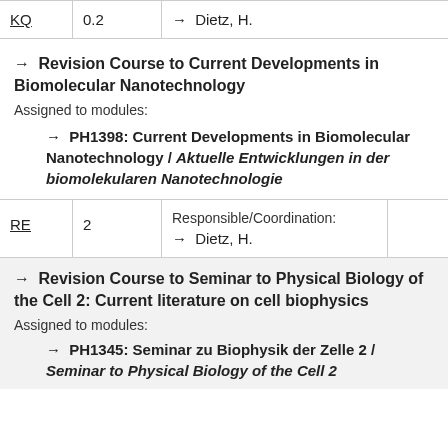|  |  |  |
| --- | --- | --- |
| KQ | 0.2 | → Dietz, H. |
→ Revision Course to Current Developments in Biomolecular Nanotechnology
Assigned to modules:
→ PH1398: Current Developments in Biomolecular Nanotechnology / Aktuelle Entwicklungen in der biomolekularen Nanotechnologie
|  |  |  |  |
| --- | --- | --- | --- |
| RE | 2 | Responsible/Coordination:
→ Dietz, H. |  |
→ Revision Course to Seminar to Physical Biology of the Cell 2: Current literature on cell biophysics
Assigned to modules:
→ PH1345: Seminar zu Biophysik der Zelle 2 / Seminar to Physical Biology of the Cell 2